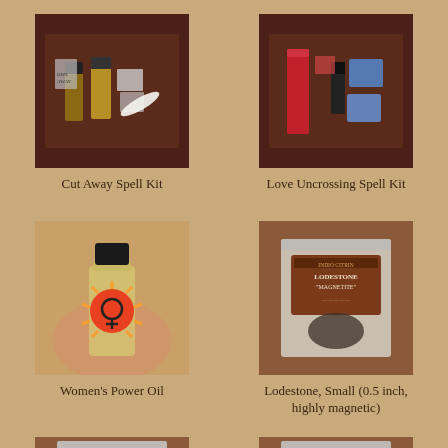[Figure (photo): Cut Away Spell Kit product photo showing small bottles and bags on dark brown fabric]
Cut Away Spell Kit
[Figure (photo): Love Uncrossing Spell Kit product photo showing red candle and blue bags on dark brown fabric]
Love Uncrossing Spell Kit
[Figure (photo): Women's Power Oil product photo showing small bottle with red and orange label featuring female symbol, held in hand]
Women's Power Oil
[Figure (photo): Lodestone Magnetite in a clear plastic bag with label, small highly magnetic stone]
Lodestone, Small (0.5 inch, highly magnetic)
[Figure (photo): Bottom left product photo partially visible, clear bag on brown background]
[Figure (photo): Bottom right product photo partially visible, clear bag with label on brown background]